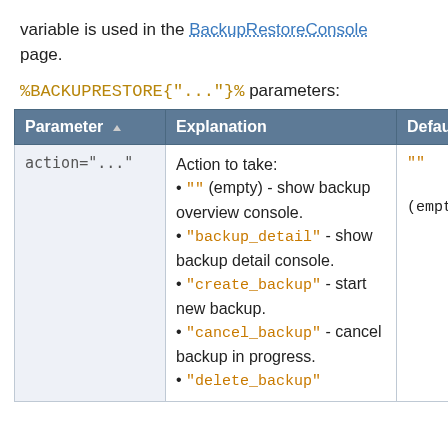variable is used in the BackupRestoreConsole page.
%BACKUPRESTORE{"..."}% parameters:
| Parameter | Explanation | Default |
| --- | --- | --- |
| action="..." | Action to take:
• "" (empty) - show backup overview console.
• "backup_detail" - show backup detail console.
• "create_backup" - start new backup.
• "cancel_backup" - cancel backup in progress.
• "delete_backup" | "" (empty) |